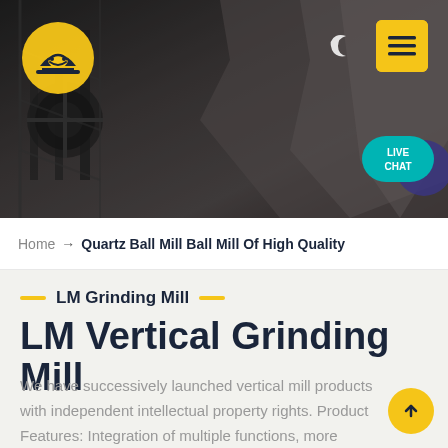[Figure (photo): Dark industrial mining/quarry site with heavy machinery and rock formations, serving as a hero/banner image for a grinding mill product page]
Home → Quartz Ball Mill Ball Mill Of High Quality
LM Grinding Mill
LM Vertical Grinding Mill
We have successively launched vertical mill products with independent intellectual property rights. Product Features: Integration of multiple functions, more stable and reliable production and more excellent capacity